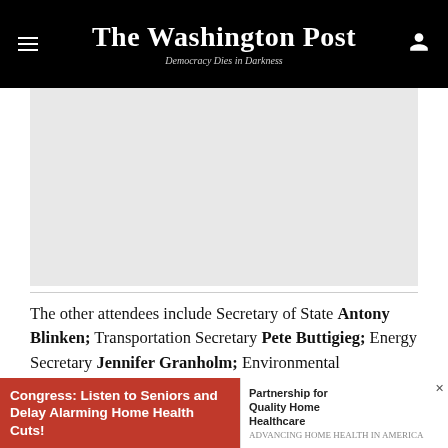The Washington Post — Democracy Dies in Darkness
[Figure (photo): Large image placeholder area, light gray background]
The other attendees include Secretary of State Antony Blinken; Transportation Secretary Pete Buttigieg; Energy Secretary Jennifer Granholm; Environmental
[Figure (infographic): Advertisement banner: left side red background — 'Congress: Listen to Seniors and Delay Alarming Home Health Cuts!'; right side white — 'Partnership for Quality Home Healthcare']